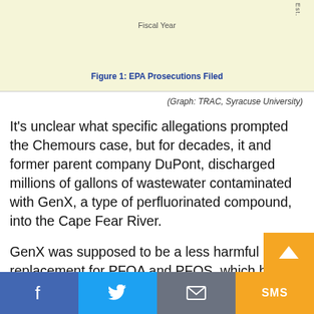[Figure (other): Partial chart area showing EPA Prosecutions Filed graph, with 'Fiscal Year' x-axis label and 'Est.' vertical label, beige background. Figure title: Figure 1: EPA Prosecutions Filed]
(Graph: TRAC, Syracuse University)
It's unclear what specific allegations prompted the Chemours case, but for decades, it and former parent company DuPont, discharged millions of gallons of wastewater contaminated with GenX, a type of perfluorinated compound, into the Cape Fear River.
GenX was supposed to be a less harmful replacement for PFOA and PFOS, which have been connected to serious human health effects, including several types of cancer, high blood pressure during pregnancy, low birth weight
f  [Twitter bird]  [Mail]  SMS